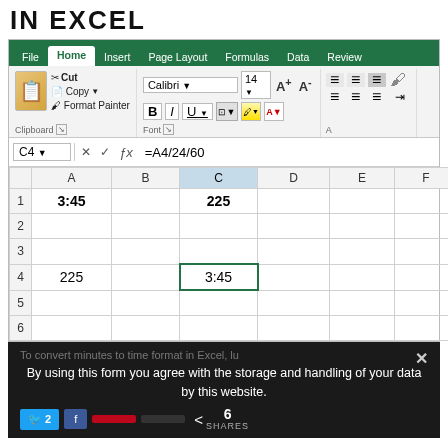IN EXCEL
[Figure (screenshot): Microsoft Excel ribbon UI screenshot showing Home tab with Clipboard, Font, and Alignment groups, formula bar showing cell C4 with formula =A4/24/60, and spreadsheet grid with cells: A1=3:45 (bold), C1=225 (bold), A4=225, C4=3:45 (selected). Dark overlay with cookie consent message at bottom.]
To convert minutes to time format in Excel, lu
By using this form you agree with the storage and handling of your data by this website.